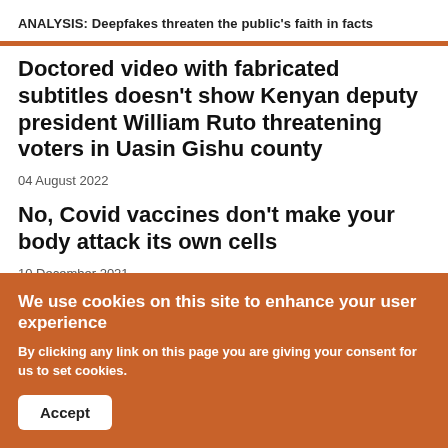ANALYSIS: Deepfakes threaten the public's faith in facts
Doctored video with fabricated subtitles doesn't show Kenyan deputy president William Ruto threatening voters in Uasin Gishu county
04 August 2022
No, Covid vaccines don't make your body attack its own cells
10 December 2021
We use cookies on this site to enhance your user experience
By clicking any link on this page you are giving your consent for us to set cookies.
Accept